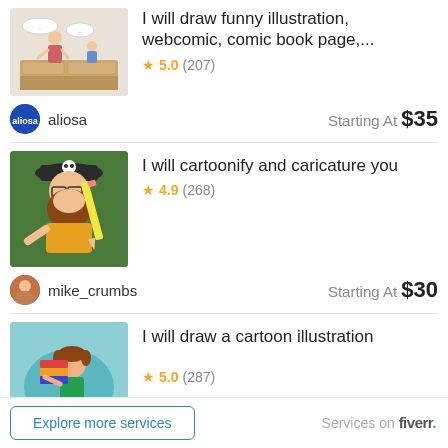[Figure (illustration): Comic illustration thumbnail showing two figures at a kitchen counter]
I will draw funny illustration, webcomic, comic book page,...
★ 5.0 (207)
aliosa    Starting At $35
[Figure (illustration): Cartoon caricature of a bearded man with glasses holding a large pencil, wearing a skull cap]
I will cartoonify and caricature you
★ 4.9 (268)
mike_crumbs    Starting At $30
[Figure (illustration): Cartoon illustration of a child carrying a stack of books]
I will draw a cartoon illustration
★ 5.0 (287)
victoria_trum    Starting At $50
Explore more services
Services on fiverr.